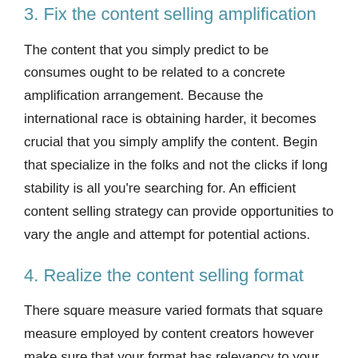3. Fix the content selling amplification
The content that you simply predict to be consumes ought to be related to a concrete amplification arrangement. Because the international race is obtaining harder, it becomes crucial that you simply amplify the content. Begin that specialize in the folks and not the clicks if long stability is all you're searching for. An efficient content selling strategy can provide opportunities to vary the angle and attempt for potential actions.
4. Realize the content selling format
There square measure varied formats that square measure employed by content creators however make sure that your format has relevancy to your business specialization. For some, making intellectual content may match, and for a few, goofy content would show the simplest results. In the end, it all depends on what you're commercialism and to whom.